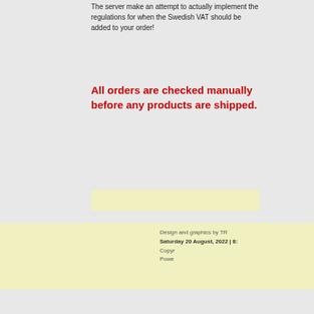The server make an attempt to actually implement the regulations for when the Swedish VAT should be added to your order!
All orders are checked manually before any products are shipped.
Design and graphics by TR
Saturday 20 August, 2022 | 8:
Copyr
Powe